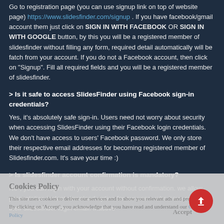Go to registration page (you can use signup link on top of website page) https://www.slidesfinder.com/signup . If you have facebook/gmail account them just click on SIGN IN WITH FACEBOOK OR SIGN IN WITH GOOGLE button, by this you will be a registered member of slidesfinder without filling any form, required detail automatically will be fatch from your account. If you do not a Facebook account, then click on "Signup". Fill all required fields and you will be a registered member of slidesfinder.
> Is it safe to access SlidesFinder using Facebook sign-in credentials?
Yes, it's absolutely safe sign-in. Users need not worry about security when accessing SlidesFinder using their Facebook login credentials. We don't have access to users' Facebook password. We only store their respective email addresses for becoming registered member of Slidesfinder.com. It's save your time :)
> Is slidesfinder account confirmation is mandatory?
No*, you can login with your account without confirmation. we allow presentation instant download option for our users who have confirmed their slidesfinder login email. Inactive